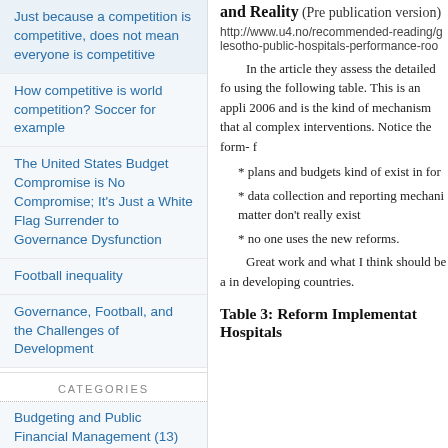Just because a competition is competitive, does not mean everyone is competitive
How competitive is world competition? Soccer for example
The United States Budget Compromise is No Compromise; It's Just a White Flag Surrender to Governance Dysfunction
Football inequality
Governance, Football, and the Challenges of Development
CATEGORIES
Budgeting and Public Financial Management (13)
Current Affairs (12)
Effective government? (27)
and Reality (Pre publication version)
http://www.u4.no/recommended-reading/g lesotho-public-hospitals-performance-roo
In the article they assess the detailed fo using the following table. This is an appli 2006 and is the kind of mechanism that al complex interventions. Notice the form- f
* plans and budgets kind of exist in for
* data collection and reporting mechani matter don't really exist
* no one uses the new reforms.
Great work and what I think should be a in developing countries.
Table 3: Reform Implementat Hospitals